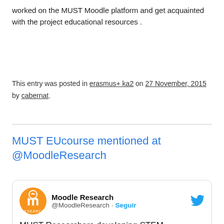worked on the MUST Moodle platform and get acquainted with the project educational resources .
This entry was posted in erasmus+ ka2 on 27 November, 2015 by cabernat.
MUST EUcourse mentioned at @MoodleResearch
[Figure (screenshot): Embedded tweet card from Moodle Research (@MoodleResearch) with Seguir button and Twitter bird icon. Tweet text begins: MUST Researchers developing STEM]